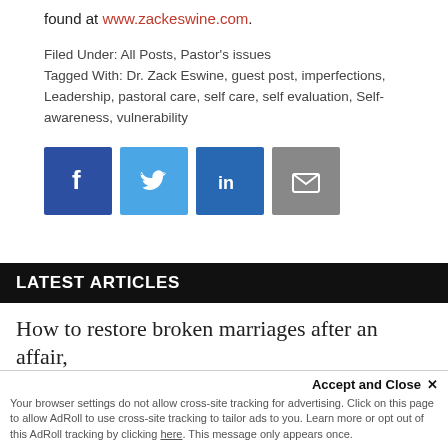found at www.zackeswine.com.
Filed Under: All Posts, Pastor's issues
Tagged With: Dr. Zack Eswine, guest post, imperfections, Leadership, pastoral care, self care, self evaluation, Self-awareness, vulnerability
[Figure (other): Social sharing icons: Facebook, Twitter, LinkedIn, Email]
LATEST ARTICLES
How to restore broken marriages after an affair,
Your browser settings do not allow cross-site tracking for advertising. Click on this page to allow AdRoll to use cross-site tracking to tailor ads to you. Learn more or opt out of this AdRoll tracking by clicking here. This message only appears once.